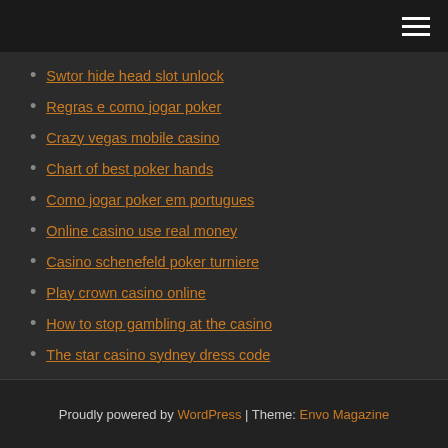Swtor hide head slot unlock
Regras e como jogar poker
Crazy vegas mobile casino
Chart of best poker hands
Como jogar poker em portugues
Online casino use real money
Casino schenefeld poker turniere
Play crown casino online
How to stop gambling at the casino
The star casino sydney dress code
Online casino no fees
Proudly powered by WordPress | Theme: Envo Magazine